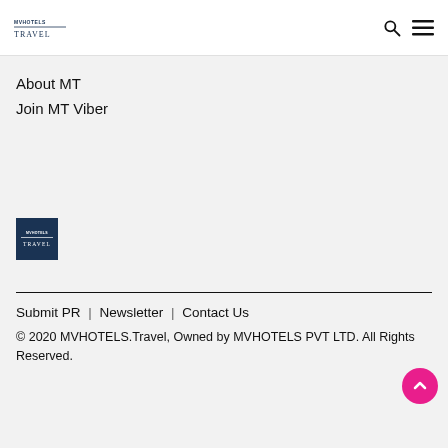MVHOTELS TRAVEL logo, search icon, menu icon
About MT
Join MT Viber
[Figure (logo): MVHOTELS Travel logo — white text on dark navy square]
Submit PR | Newsletter | Contact Us
© 2020 MVHOTELS.Travel, Owned by MVHOTELS PVT LTD. All Rights Reserved.